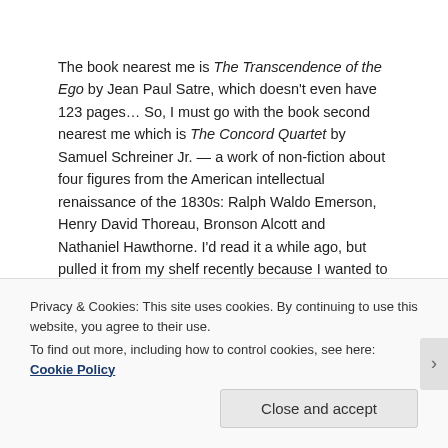The book nearest me is The Transcendence of the Ego by Jean Paul Satre, which doesn't even have 123 pages… So, I must go with the book second nearest me which is The Concord Quartet by Samuel Schreiner Jr. — a work of non-fiction about four figures from the American intellectual renaissance of the 1830s: Ralph Waldo Emerson, Henry David Thoreau, Bronson Alcott and Nathaniel Hawthorne. I'd read it a while ago, but pulled it from my shelf recently because I wanted to write a song in commemoration of these literary/philosophical figures of
Privacy & Cookies: This site uses cookies. By continuing to use this website, you agree to their use.
To find out more, including how to control cookies, see here: Cookie Policy